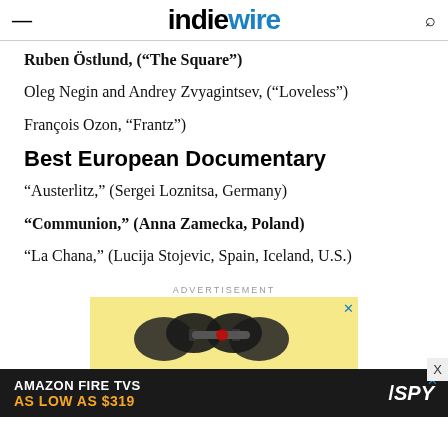IndieWire
Ruben Östlund, (“The Square”)
Oleg Negin and Andrey Zvyagintsev, (“Loveless”)
François Ozon, “Frantz”)
Best European Documentary
“Austerlitz,” (Sergei Loznitsa, Germany)
“Communion,” (Anna Zamecka, Poland)
“La Chana,” (Lucija Stojevic, Spain, Iceland, U.S.)
ADVERTISEMENT
[Figure (photo): Advertisement banner showing dumbbells with bowflex styling on yellow background, with an Amazon Fire TVs ad below reading 'AMAZON FIRE TVS AS LOW AS $319' with SPY logo]